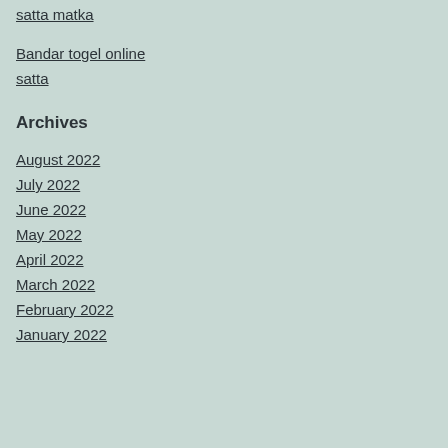satta matka
Bandar togel online
satta
Archives
August 2022
July 2022
June 2022
May 2022
April 2022
March 2022
February 2022
January 2022